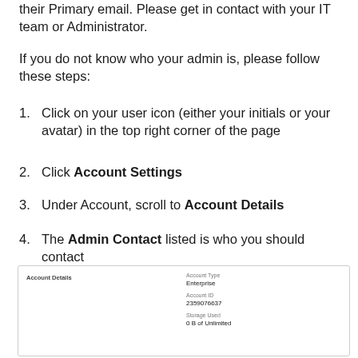their Primary email. Please get in contact with your IT team or Administrator.
If you do not know who your admin is, please follow these steps:
1. Click on your user icon (either your initials or your avatar) in the top right corner of the page
2. Click Account Settings
3. Under Account, scroll to Account Details
4. The Admin Contact listed is who you should contact
[Figure (screenshot): Screenshot of Account Details panel showing Account Type: Enterprise, Account ID: 2359076637, Storage Used: 0 B of Unlimited]